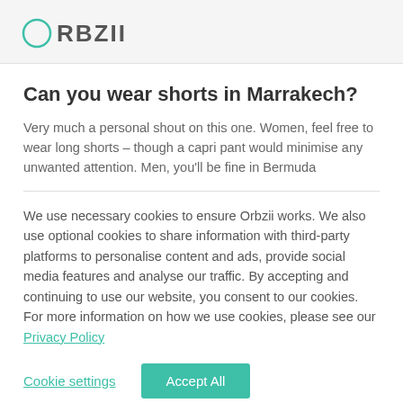ORBZII
Can you wear shorts in Marrakech?
Very much a personal shout on this one. Women, feel free to wear long shorts – though a capri pant would minimise any unwanted attention. Men, you'll be fine in Bermuda
We use necessary cookies to ensure Orbzii works. We also use optional cookies to share information with third-party platforms to personalise content and ads, provide social media features and analyse our traffic. By accepting and continuing to use our website, you consent to our cookies. For more information on how we use cookies, please see our Privacy Policy
Cookie settings | Accept All